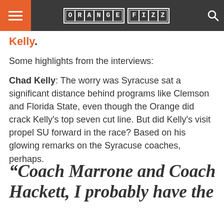ORANGE FIZZ
Kelly.
Some highlights from the interviews:
Chad Kelly: The worry was Syracuse sat a significant distance behind programs like Clemson and Florida State, even though the Orange did crack Kelly's top seven cut line. But did Kelly's visit propel SU forward in the race? Based on his glowing remarks on the Syracuse coaches, perhaps.
“Coach Marrone and Coach Hackett, I probably have the